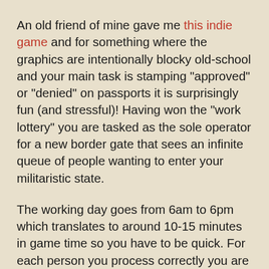An old friend of mine gave me this indie game and for something where the graphics are intentionally blocky old-school and your main task is stamping "approved" or "denied" on passports it is surprisingly fun (and stressful)! Having won the "work lottery" you are tasked as the sole operator for a new border gate that sees an infinite queue of people wanting to enter your militaristic state.
The working day goes from 6am to 6pm which translates to around 10-15 minutes in game time so you have to be quick. For each person you process correctly you are paid $5, while each person processed incorrectly deducts your total salary by $5. At the end of the day your meager earnings have to pay for the ever increasing rent and optional food, heating, and medicine for the rest of your family too.
While the first day is pretty straight forward, each new one adds requirements that you need to verify quickly. So far I've had to deal with expired passports, mismatched names, incorrect tickets, forged stamps, and a crazy dude who enjoys wasting my time with false documents. Terrorist